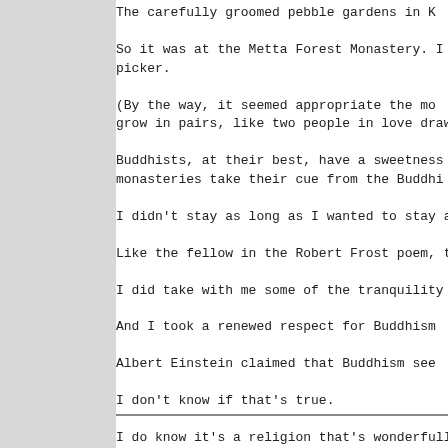The carefully groomed pebble gardens in K
So it was at the Metta Forest Monastery. I c
picker.
(By the way, it seemed appropriate the mo
grow in pairs, like two people in love drawi
Buddhists, at their best, have a sweetness a
monasteries take their cue from the Buddhi
I didn't stay as long as I wanted to stay at th
Like the fellow in the Robert Frost poem, th
I did take with me some of the tranquility tha
And I took a renewed respect for Buddhism
Albert Einstein claimed that Buddhism see
I don't know if that's true.
I do know it's a religion that's wonderfully co
And for a short spell in the hills outside of S